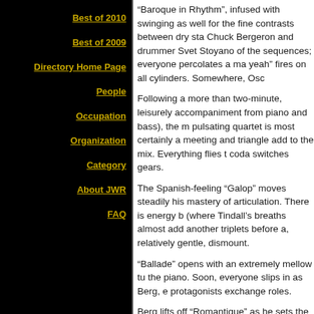Best of 2010
Best of 2009
Directory Home Page
People
Occupation
Organization
Category
About JWR
FAQ
“Baroque in Rhythm”, infused with swinging as well for the fine contrasts between dry sta Chuck Bergeron and drummer Svet Stoyano of the sequences; everyone percolates a ma yeah” fires on all cylinders. Somewhere, Osc
Following a more than two-minute, leisurely accompaniment from piano and bass), the m pulsating quartet is most certainly a meeting and triangle add to the mix. Everything flies t coda switches gears.
The Spanish-feeling “Galop” moves steadily his mastery of articulation. There is energy b (where Tindall’s breaths almost add another triplets before a, relatively gentle, dismount.
“Ballade” opens with an extremely mellow tu the piano. Soon, everyone slips in as Berg, e protagonists exchange roles.
Berg lifts off “Romantique” as he sets the tor Beauty” when Tindall joins the fray; their effe follow suit, adding still more to the compelling
The finale (“Cello (Tuba) Fan”) is a veritable turned when Tindall expertly lays down his o “half time” rhythmic icing on this delectable c
Cheers to Bolling for having the vision to see
This delightful disc concludes with the oldest